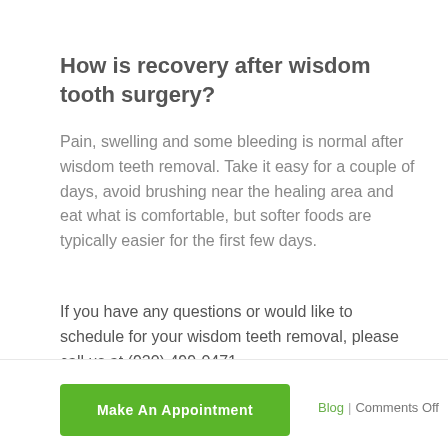How is recovery after wisdom tooth surgery?
Pain, swelling and some bleeding is normal after wisdom teeth removal. Take it easy for a couple of days, avoid brushing near the healing area and eat what is comfortable, but softer foods are typically easier for the first few days.
If you have any questions or would like to schedule for your wisdom teeth removal, please call us at (920) 499-0471.
Make An Appointment | Blog | Comments Off